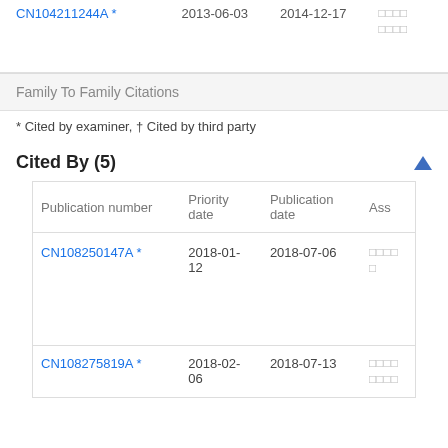| Publication number | Priority date | Publication date | Ass |
| --- | --- | --- | --- |
| CN104211244A * | 2013-06-03 | 2014-12-17 | □□□□ □□□□ |
Family To Family Citations
* Cited by examiner, † Cited by third party
Cited By (5)
| Publication number | Priority date | Publication date | Ass |
| --- | --- | --- | --- |
| CN108250147A * | 2018-01-12 | 2018-07-06 | □□□□ □ |
| CN108275819A * | 2018-02-06 | 2018-07-13 | □□□□ □□□□ |